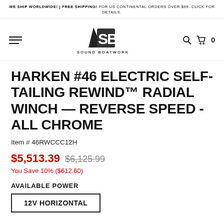WE SHIP WORLDWIDE! | FREE SHIPPING! FOR US CONTINENTAL ORDERS OVER $99. CLICK FOR DETAILS.
[Figure (logo): Sound Boatworks logo — stylized SB letters with a sailboat bow, text SOUND BOATWORKS below]
HARKEN #46 ELECTRIC SELF-TAILING REWIND™ RADIAL WINCH — REVERSE SPEED - ALL CHROME
Item # 46RWCCC12H
$5,513.39  $6,125.99
You Save 10% ($612.60)
AVAILABLE POWER
12V HORIZONTAL